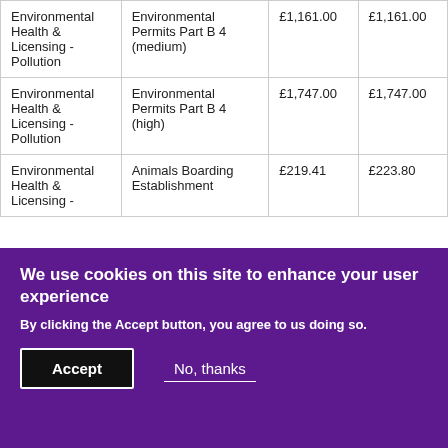| Environmental Health & Licensing - Pollution | Environmental Permits Part B 4 (medium) | £1,161.00 | £1,161.00 |
| Environmental Health & Licensing - Pollution | Environmental Permits Part B 4 (high) | £1,747.00 | £1,747.00 |
| Environmental Health & Licensing - | Animals Boarding Establishment | £219.41 | £223.80 |
We use cookies on this site to enhance your user experience
By clicking the Accept button, you agree to us doing so.